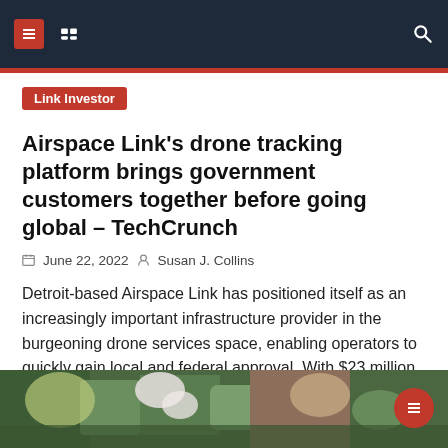Navigation header with logo icons and search
Link Investor
Airspace Link's drone tracking platform brings government customers together before going global – TechCrunch
June 22, 2022   Susan J. Collins
Detroit-based Airspace Link has positioned itself as an increasingly important infrastructure provider in the burgeoning drone services space, enabling operators to quickly gain local and federal approval. With $23 million in new support, the company now plans to expand its platform to other countries looking to get their drone industries off the ground. The company's [...]
[Figure (photo): Partial photo of flowers and greenery at bottom of page]